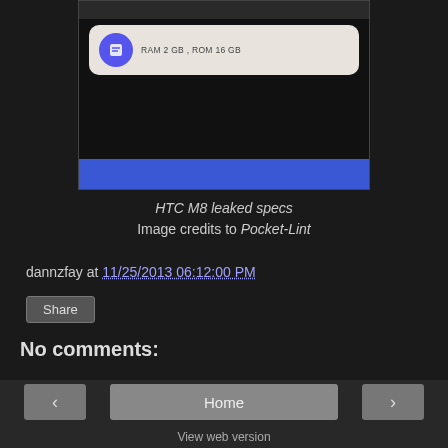[Figure (screenshot): Screenshot of a mobile app interface showing a chat bubble with a blue circular icon and text 'RAM 2 GB, ROM 16 GB' on a beige background, with a blue bar at the bottom]
HTC M8 leaked specs
Image credits to Pocket-Lint
dannzfay at 11/25/2013 06:12:00 PM
Share
No comments:
Post a Comment
Home